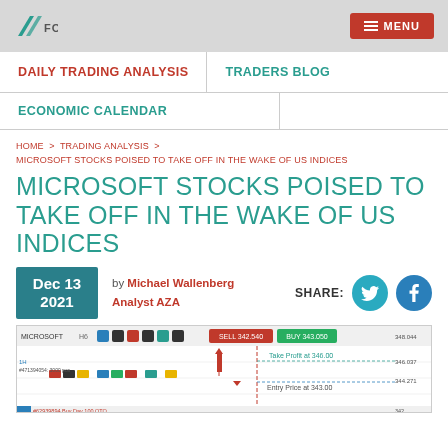AZA FOREX  MENU
DAILY TRADING ANALYSIS
TRADERS BLOG
ECONOMIC CALENDAR
HOME > TRADING ANALYSIS > MICROSOFT STOCKS POISED TO TAKE OFF IN THE WAKE OF US INDICES
MICROSOFT STOCKS POISED TO TAKE OFF IN THE WAKE OF US INDICES
Dec 13 2021  by Michael Wallenberg Analyst AZA  SHARE:
[Figure (screenshot): Trading platform screenshot showing Microsoft stock chart with SELL 342.540 and BUY 343.050 prices, Take Profit at 346.00 and Entry Price at 343.00 annotations, candlestick chart with various trading interface elements]